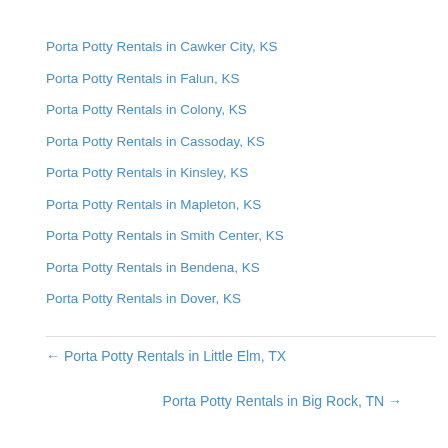Porta Potty Rentals in Cawker City, KS
Porta Potty Rentals in Falun, KS
Porta Potty Rentals in Colony, KS
Porta Potty Rentals in Cassoday, KS
Porta Potty Rentals in Kinsley, KS
Porta Potty Rentals in Mapleton, KS
Porta Potty Rentals in Smith Center, KS
Porta Potty Rentals in Bendena, KS
Porta Potty Rentals in Dover, KS
← Porta Potty Rentals in Little Elm, TX
Porta Potty Rentals in Big Rock, TN →